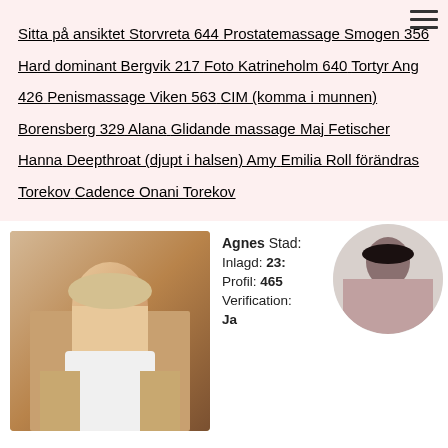Sitta på ansiktet Storvreta 644 Prostatemassage Smogen 356 Hard dominant Bergvik 217 Foto Katrineholm 640 Tortyr Ang 426 Penismassage Viken 563 CIM (komma i munnen) Borensberg 329 Alana Glidande massage Maj Fetischer Hanna Deepthroat (djupt i halsen) Amy Emilia Roll förändras Torekov Cadence Onani Torekov
[Figure (photo): Photo of a blonde woman in a white top]
Agnes Stad: ... Inlagd: 23:... Profil: 465 Verification: ... Ja
[Figure (photo): Circular thumbnail photo of a dark-haired woman]